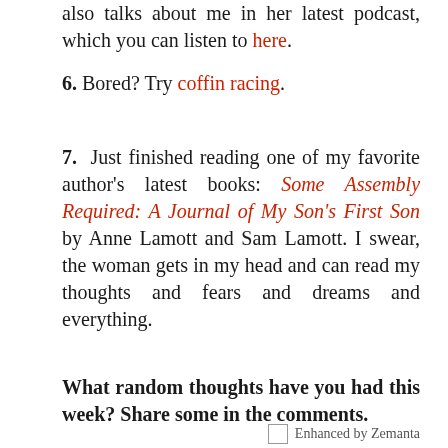also talks about me in her latest podcast, which you can listen to here.
6. Bored? Try coffin racing.
7. Just finished reading one of my favorite author’s latest books: Some Assembly Required: A Journal of My Son’s First Son by Anne Lamott and Sam Lamott. I swear, the woman gets in my head and can read my thoughts and fears and dreams and everything.
What random thoughts have you had this week? Share some in the comments.
[Figure (logo): Enhanced by Zemanta logo/badge]